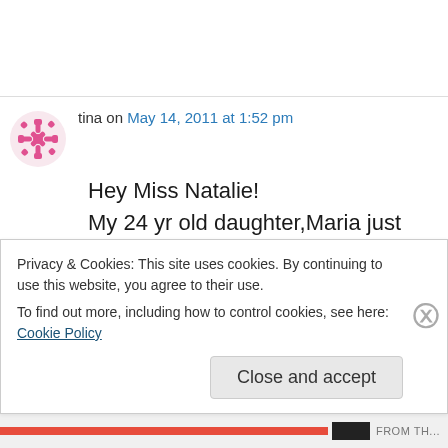tina on May 14, 2011 at 1:52 pm
Hey Miss Natalie!
My 24 yr old daughter,Maria just sent me the link to your blog-all 5 of my kids were raised watching your show,and to THIS day,we still use words and phrases from the show.They also
Privacy & Cookies: This site uses cookies. By continuing to use this website, you agree to their use.
To find out more, including how to control cookies, see here: Cookie Policy
Close and accept